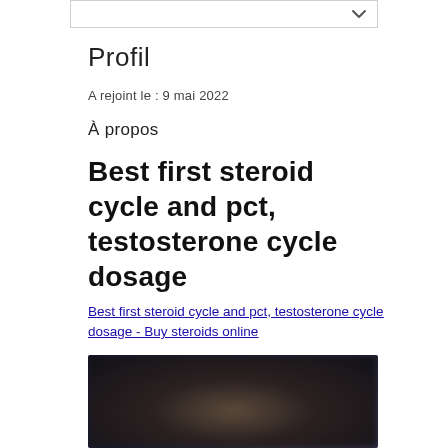Profil
A rejoint le : 9 mai 2022
À propos
Best first steroid cycle and pct, testosterone cycle dosage
Best first steroid cycle and pct, testosterone cycle dosage - Buy steroids online
[Figure (photo): Dark blurred image, appears to be a product photo with dark background]